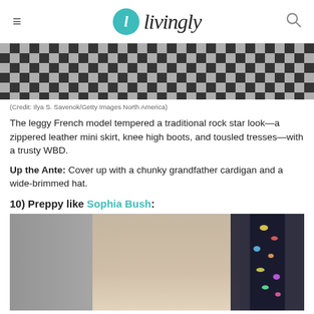livingly
[Figure (photo): Close-up of a black and white checkerboard floor pattern]
(Credit: Ilya S. Savenok/Getty Images North America)
The leggy French model tempered a traditional rock star look—a zippered leather mini skirt, knee high boots, and tousled tresses—with a trusty WBD.
Up the Ante: Cover up with a chunky grandfather cardigan and a wide-brimmed hat.
10) Preppy like Sophia Bush:
[Figure (photo): Sophia Bush smiling outdoors near a car, with another woman visible in the background, colorful art on wall behind]